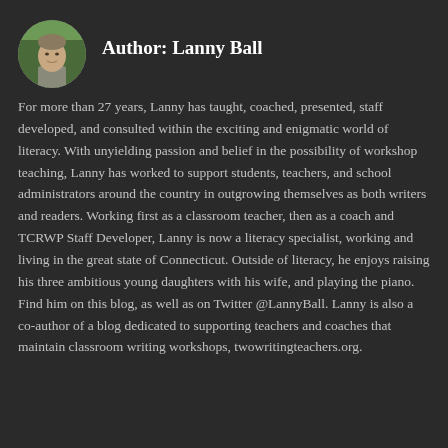[Figure (photo): Circular headshot photo of Lanny Ball, a man outdoors with trees in background]
Author: Lanny Ball
For more than 27 years, Lanny has taught, coached, presented, staff developed, and consulted within the exciting and enigmatic world of literacy. With unyielding passion and belief in the possibility of workshop teaching, Lanny has worked to support students, teachers, and school administrators around the country in outgrowing themselves as both writers and readers. Working first as a classroom teacher, then as a coach and TCRWP Staff Developer, Lanny is now a literacy specialist, working and living in the great state of Connecticut. Outside of literacy, he enjoys raising his three ambitious young daughters with his wife, and playing the piano. Find him on this blog, as well as on Twitter @LannyBall. Lanny is also a co-author of a blog dedicated to supporting teachers and coaches that maintain classroom writing workshops, twowritingteachers.org.